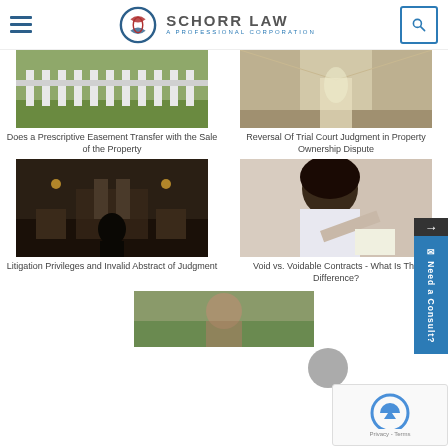SCHORR LAW - A PROFESSIONAL CORPORATION
[Figure (photo): Aerial view of a white picket fence with green grass]
Does a Prescriptive Easement Transfer with the Sale of the Property
[Figure (photo): Interior hallway with shiny floors and natural light]
Reversal Of Trial Court Judgment in Property Ownership Dispute
[Figure (photo): Courtroom scene with people seated at tables viewed from behind]
Litigation Privileges and Invalid Abstract of Judgment
[Figure (photo): Woman with curly hair in white shirt pointing a document]
Void vs. Voidable Contracts - What Is The Difference?
[Figure (photo): Partial image at bottom — person outdoors]